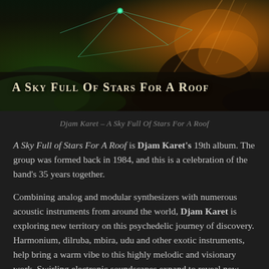[Figure (photo): Album cover for 'A Sky Full of Stars For A Roof' by Djam Karet, featuring a dark landscape with geometric lines and warm light tones, with the album title in small-caps serif font overlaid.]
Djam Karet – A Sky Full Of Stars For A Roof
A Sky Full of Stars For A Roof is Djam Karet's 19th album. The group was formed back in 1984, and this is a celebration of the band's 35 years together.
Combining analog and modular synthesizers with numerous acoustic instruments from around the world, Djam Karet is exploring new territory on this psychedelic journey of discovery. Harmonium, dilruba, mbira, udu and other exotic instruments, help bring a warm vibe to this highly melodic and visionary work. Swirling electronic soundscapes expand to reveal new acoustic environments of exotic goodness...